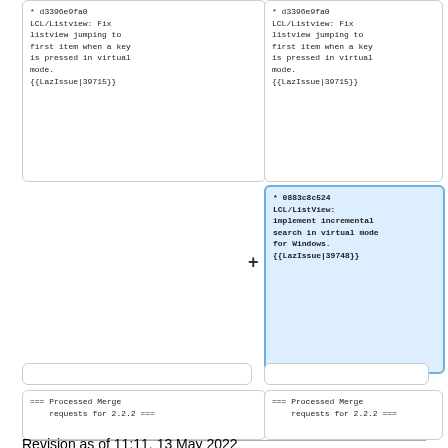* d3396e9fa0
LCL/Listview: Fix listview jumping to first item when a key is pressed in virtual mode.
{{LazIssue|39715}}
* d3396e9fa0
LCL/Listview: Fix listview jumping to first item when a key is pressed in virtual mode.
{{LazIssue|39715}}
* 0883c8c524 LCL/ListView: implement incremental search in virtual mode for Windows.
{{LazIssue|39748}}
=== Processed Merge requests for 2.2.2 ===
=== Processed Merge requests for 2.2.2 ===
Revision as of 11:11, 13 May 2022